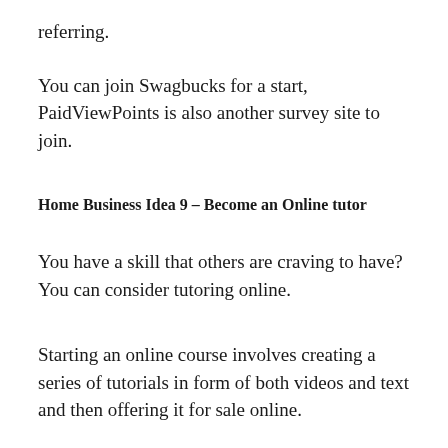referring.
You can join Swagbucks for a start, PaidViewPoints is also another survey site to join.
Home Business Idea 9 – Become an Online tutor
You have a skill that others are craving to have? You can consider tutoring online.
Starting an online course involves creating a series of tutorials in form of both videos and text and then offering it for sale online.
You can also go ahead issuing certificate to those